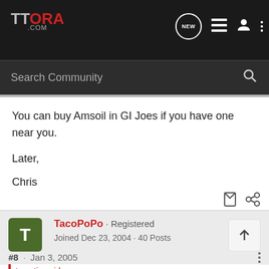TTORA.COM
Search Community
You can buy Amsoil in GI Joes if you have one near you.

Later,

Chris
TacoPoPo · Registered
Joined Dec 23, 2004 · 40 Posts
#8 · Jan 3, 2005
tomstin said: